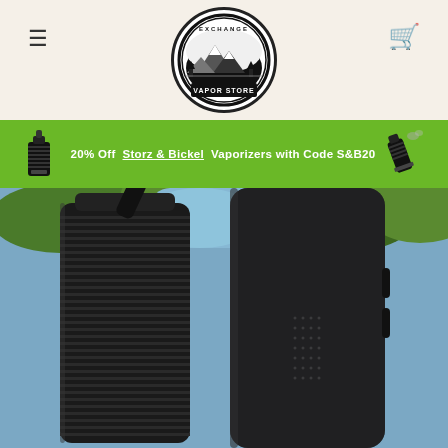[Figure (logo): Exchange Vapor Store circular logo with mountain landscape illustration]
20% Off Storz & Bickel Vaporizers with Code S&B20
[Figure (photo): Two black Storz & Bickel portable vaporizers (Crafty and Mighty) photographed outdoors against green foliage background]